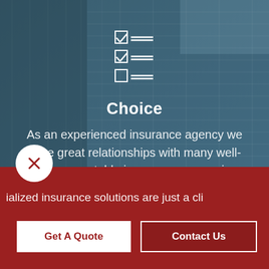[Figure (illustration): Background photo of a tall blue glass office building with teal-blue overlay; a checklist icon (two checked boxes and one unchecked box with horizontal lines) appears at the top center in white]
Choice
As an experienced insurance agency we have great relationships with many well-known, reputable insurance companies, giving you the power of choice.
ialized insurance solutions are just a cli
Get A Quote
Contact Us